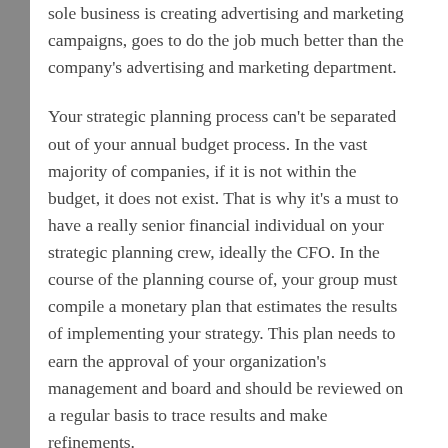sole business is creating advertising and marketing campaigns, goes to do the job much better than the company's advertising and marketing department.
Your strategic planning process can't be separated out of your annual budget process. In the vast majority of companies, if it is not within the budget, it does not exist. That is why it's a must to have a really senior financial individual on your strategic planning crew, ideally the CFO. In the course of the planning course of, your group must compile a monetary plan that estimates the results of implementing your strategy. This plan needs to earn the approval of your organization's management and board and should be reviewed on a regular basis to trace results and make refinements.
Even if you used these house based mostly business